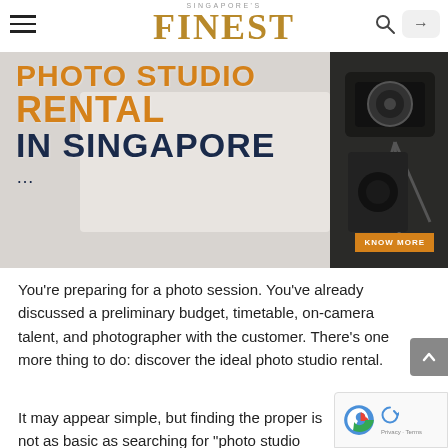SINGAPORE'S FINEST
[Figure (photo): Photo studio rental banner image showing camera equipment on the right side, with bold text overlay reading 'PHOTO STUDIO RENTAL IN SINGAPORE ...' and a 'KNOW MORE' button. Background is a blurred light grey/beige photo studio setting.]
You're preparing for a photo session. You've already discussed a preliminary budget, timetable, on-camera talent, and photographer with the customer. There's one more thing to do: discover the ideal photo studio rental.
It may appear simple, but finding the proper is not as basic as searching for "photo studio